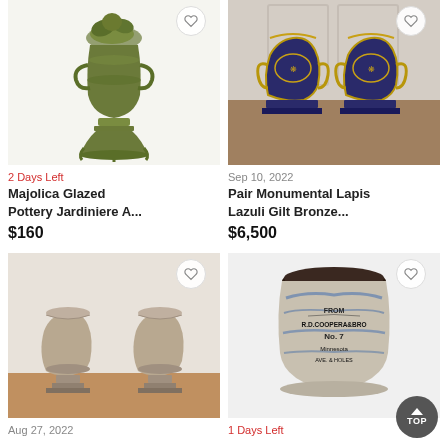[Figure (photo): Majolica glazed pottery jardiniere on pedestal, green glaze with figural decoration]
2 Days Left
Majolica Glazed Pottery Jardiniere A...
$160
[Figure (photo): Pair of monumental lapis lazuli gilt bronze urns on pedestals in a room]
Sep 10, 2022
Pair Monumental Lapis Lazuli Gilt Bronze...
$6,500
[Figure (photo): Pair of antique stone garden urns on pedestals]
Aug 27, 2022
[Figure (photo): Antique stoneware crock with blue decoration and text]
1 Days Left